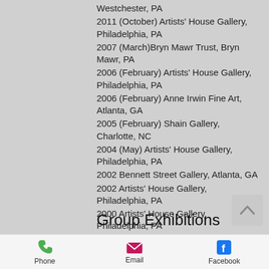Westchester, PA
2011 (October) Artists' House Gallery, Philadelphia, PA
2007 (March)Bryn Mawr Trust, Bryn Mawr, PA
2006 (February) Artists' House Gallery, Philadelphia, PA
2006 (February) Anne Irwin Fine Art, Atlanta, GA
2005 (February) Shain Gallery, Charlotte, NC
2004 (May) Artists' House Gallery, Philadelphia, PA
2002 Bennett Street Gallery, Atlanta, GA
2002 Artists' House Gallery, Philadelphia, PA
2000 Artists' House Gallery, Philadelphia, PA
2000 Bennett Street Gallery, Atlanta, GA
1998 Artists' House Gallery, Philadelphia, PA
Group Exhibitions
Phone | Email | Facebook